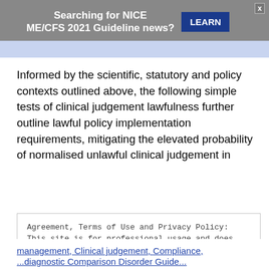[Figure (other): Ad banner: grey background with text 'Searching for NICE ME/CFS 2021 Guideline news?' and a dark blue LEARN button, with an X close button in top right]
Informed by the scientific, statutory and policy contexts outlined above, the following simple tests of clinical judgement lawfulness further outline lawful policy implementation requirements, mitigating the elevated probability of normalised unlawful clinical judgement in
Agreement, Terms of Use and Privacy Policy: This site is for professional usage and does not contain medical, legal or other any form of advice. It also uses cookies. By continuing to use this website, you agree to their use. To find out more, including how to control cookies, see here Agreement, Terms of Use and Privacy Policy
CLOSE AND ACCEPT
management, Clinical judgement, Compliance, ...diagnostic Comparison Disorder Guide...